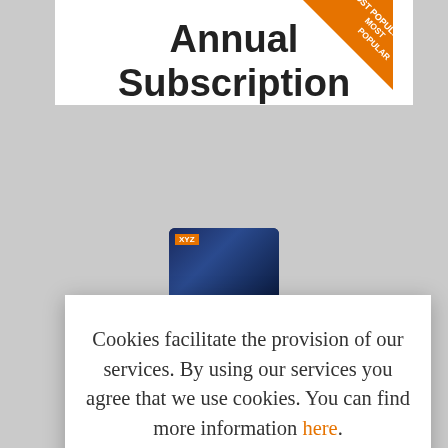Annual Subscription
[Figure (other): Product card image showing a dark blue subscription card with orange label, partially visible at top]
Cookies facilitate the provision of our services. By using our services you agree that we use cookies. You can find more information here.
okay